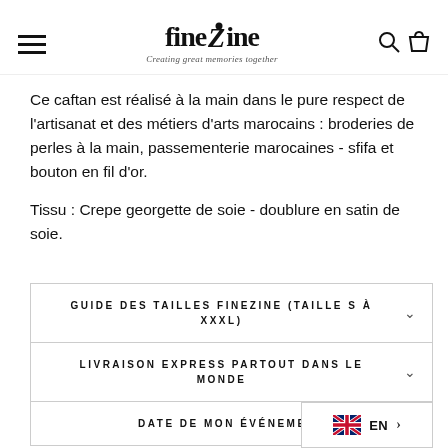finezine — Creating great memories together
Ce caftan est réalisé à la main dans le pure respect de l'artisanat et des métiers d'arts marocains : broderies de perles à la main, passementerie marocaines - sfifa et bouton en fil d'or.
Tissu : Crepe georgette de soie - doublure en satin de soie.
GUIDE DES TAILLES FINEZINE (TAILLE S À XXXL)
LIVRAISON EXPRESS PARTOUT DANS LE MONDE
DATE DE MON ÉVÉNEMENT